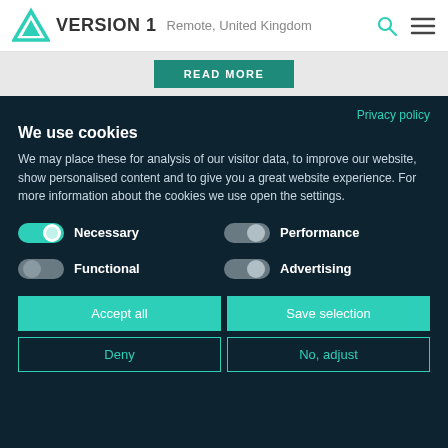VERSION 1  Remote, United Kingdom
READ MORE
Privacy policy
We use cookies
We may place these for analysis of our visitor data, to improve our website, show personalised content and to give you a great website experience. For more information about the cookies we use open the settings.
Necessary
Performance
Functional
Advertising
Accept all
Save selection
Deny
No, adjust